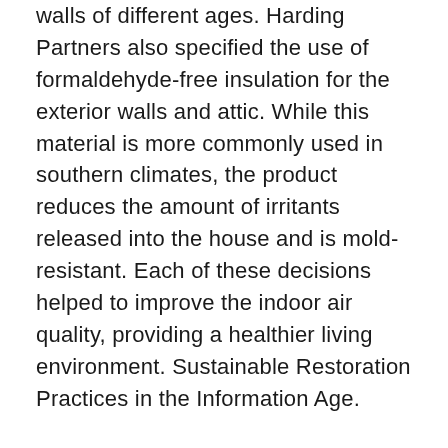walls of different ages. Harding Partners also specified the use of formaldehyde-free insulation for the exterior walls and attic. While this material is more commonly used in southern climates, the product reduces the amount of irritants released into the house and is mold-resistant. Each of these decisions helped to improve the indoor air quality, providing a healthier living environment. Sustainable Restoration Practices in the Information Age.
The Davenport House is being restored as a permanent residence. The restoration brings the house into conformance with contemporary building codes, contemporary expectations for user conveniences and comfort, as well as the best practices in sustainable design—all while maintaining the historic profiles and character of